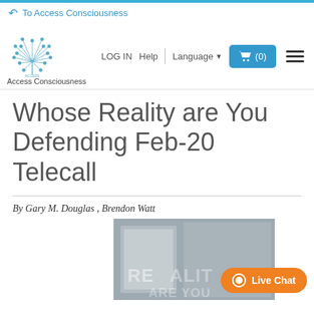To Access Consciousness
[Figure (logo): Access Consciousness dandelion logo with text 'ACCESS CONSCIOUSNESS']
Access Consciousness
LOG IN  Help  Language
(0)
Whose Reality are You Defending Feb-20 Telecall
By Gary M. Douglas , Brendon Watt
[Figure (photo): Product image showing text 'REALITY ARE YOU' with decorative background]
Live Chat